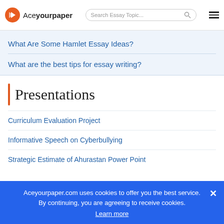Aceyourpaper — Search Essay Topic...
What Are Some Hamlet Essay Ideas?
What are the best tips for essay writing?
Presentations
Curriculum Evaluation Project
Informative Speech on Cyberbullying
Strategic Estimate of Ahurastan Power Point
Aceyourpaper.com uses cookies to offer you the best service. By continuing, you are agreeing to receive cookies. Learn more